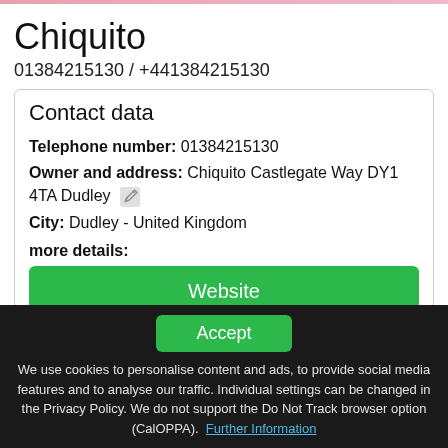Chiquito
01384215130 / +441384215130
Contact data
Telephone number: 01384215130
Owner and address: Chiquito Castlegate Way DY1 4TA Dudley
City: Dudley - United Kingdom
more details:
Website
This info is supplied without liability.
Accept
We use cookies to personalise content and ads, to provide social media features and to analyse our traffic. Individual settings can be changed in the Privacy Policy. We do not support the Do Not Track browser option (CalOPPA). Further Information